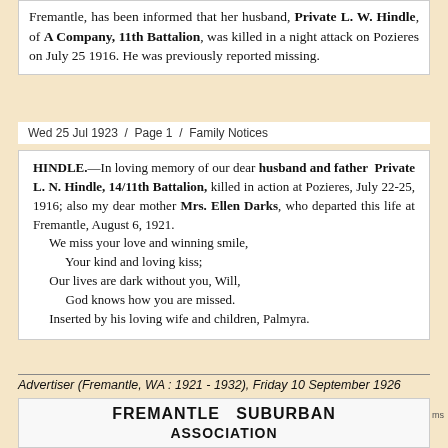Fremantle, has been informed that her husband, Private L. W. Hindle, of A Company, 11th Battalion, was killed in a night attack on Pozieres on July 25 1916. He was previously reported missing.
Wed 25 Jul 1923  /  Page 1  /  Family Notices
HINDLE.—In loving memory of our dear husband and father Private L. N. Hindle, 14/11th Battalion, killed in action at Pozieres, July 22-25, 1916; also my dear mother Mrs. Ellen Darks, who departed this life at Fremantle, August 6, 1921. We miss your love and winning smile, Your kind and loving kiss; Our lives are dark without you, Will, God knows how you are missed. Inserted by his loving wife and children, Palmyra.
Advertiser (Fremantle, WA : 1921 - 1932), Friday 10 September 1926
FREMANTLE SUBURBAN ASSOCIATION